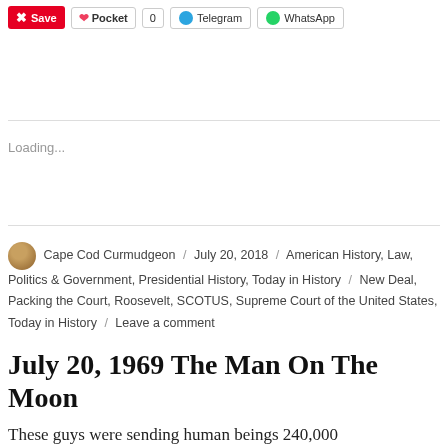Save  Pocket  0  Telegram  WhatsApp
Loading...
Cape Cod Curmudgeon / July 20, 2018 / American History, Law, Politics & Government, Presidential History, Today in History / New Deal, Packing the Court, Roosevelt, SCOTUS, Supreme Court of the United States, Today in History / Leave a comment
July 20, 1969 The Man On The Moon
These guys were sending human beings 240,000